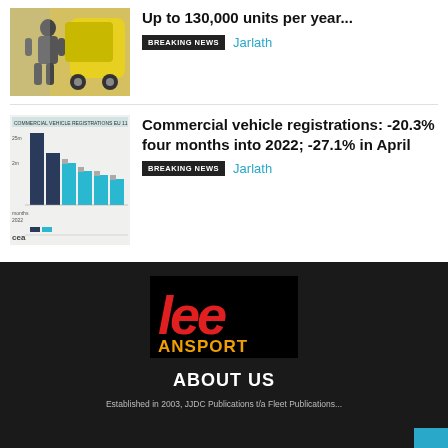Up to 130,000 units per year...
BREAKING NEWS  Jarlath
Commercial vehicle registrations: -20.3% four months into 2022; -27.1% in April
BREAKING NEWS  Jarlath
[Figure (logo): Lee Transport logo with red italic 'lee' text and orange 'ANSPORT' text on black background]
ABOUT US
Established in 2003, JJDC Publications t/a Fleet Publications...